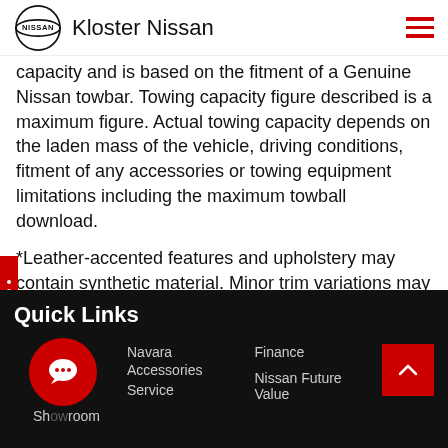Kloster Nissan
capacity and is based on the fitment of a Genuine Nissan towbar. Towing capacity figure described is a maximum figure. Actual towing capacity depends on the laden mass of the vehicle, driving conditions, fitment of any accessories or towing equipment limitations including the maximum towball download.
*Leather-accented features and upholstery may contain synthetic material. Minor trim variations may occur from time to time.
#Premium paint available at extra cost.
Quick Links
Showroom
Navara
Accessories
Service
Finance
Nissan Future Value